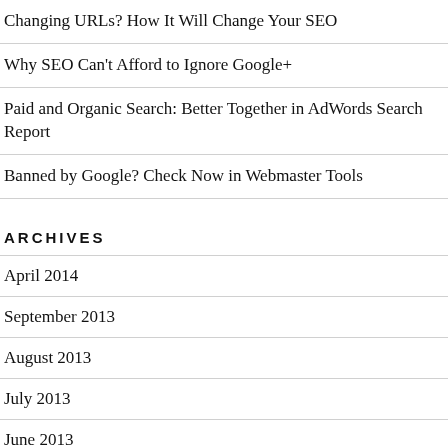Changing URLs? How It Will Change Your SEO
Why SEO Can't Afford to Ignore Google+
Paid and Organic Search: Better Together in AdWords Search Report
Banned by Google? Check Now in Webmaster Tools
ARCHIVES
April 2014
September 2013
August 2013
July 2013
June 2013